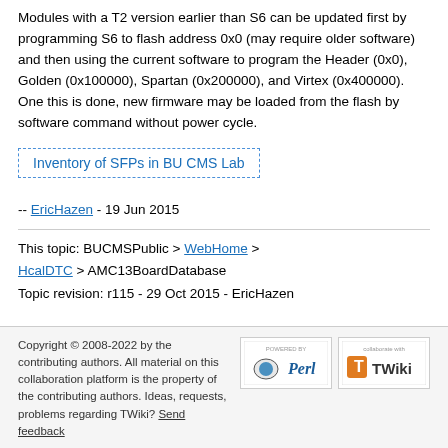Modules with a T2 version earlier than S6 can be updated first by programming S6 to flash address 0x0 (may require older software) and then using the current software to program the Header (0x0), Golden (0x100000), Spartan (0x200000), and Virtex (0x400000). One this is done, new firmware may be loaded from the flash by software command without power cycle.
Inventory of SFPs in BU CMS Lab
-- EricHazen - 19 Jun 2015
This topic: BUCMSPublic > WebHome > HcalDTC > AMC13BoardDatabase
Topic revision: r115 - 29 Oct 2015 - EricHazen
Copyright © 2008-2022 by the contributing authors. All material on this collaboration platform is the property of the contributing authors. Ideas, requests, problems regarding TWiki? Send feedback